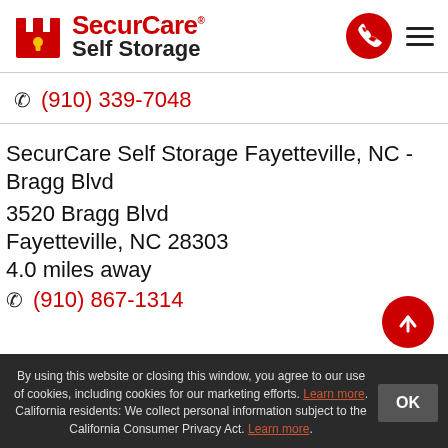[Figure (logo): SecurCare Self Storage logo with red castle/chess rook icon and red/black text]
(910) 339-7048
SecurCare Self Storage Fayetteville, NC - Bragg Blvd
3520 Bragg Blvd
Fayetteville, NC 28303
4.0 miles away
(910) 867-1314
By using this website or closing this window, you agree to our use of cookies, including cookies for our marketing efforts. Learn more. California residents: We collect personal information subject to the California Consumer Privacy Act. Learn more.